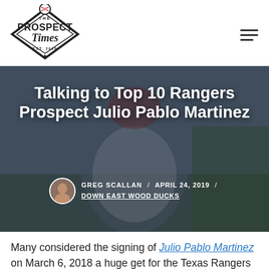The Prospect Times
[Figure (photo): Baseball player wearing a Spartans jersey number 27 in a stadium, with a cap showing a cartoon character. The hero image serves as background for the article title.]
Talking to Top 10 Rangers Prospect Julio Pablo Martinez
GREG SCALLAN / APRIL 24, 2019 / DOWN EAST WOOD DUCKS
Many considered the signing of Julio Pablo Martinez on March 6, 2018 a huge get for the Texas Rangers in the